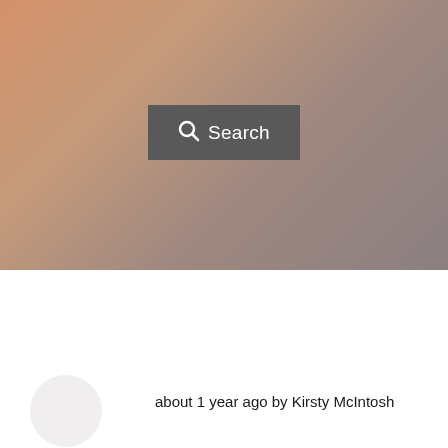[Figure (screenshot): Gradient background area with warm orange-brown to cool grey tones, containing a dark grey search button with magnifying glass icon and 'Search' text]
about 1 year ago by Kirsty McIntosh